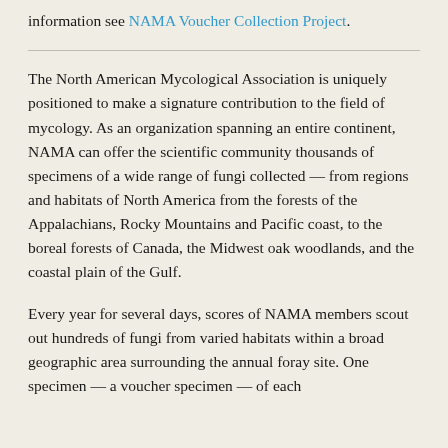information see NAMA Voucher Collection Project.
The North American Mycological Association is uniquely positioned to make a signature contribution to the field of mycology. As an organization spanning an entire continent, NAMA can offer the scientific community thousands of specimens of a wide range of fungi collected — from regions and habitats of North America from the forests of the Appalachians, Rocky Mountains and Pacific coast, to the boreal forests of Canada, the Midwest oak woodlands, and the coastal plain of the Gulf.
Every year for several days, scores of NAMA members scout out hundreds of fungi from varied habitats within a broad geographic area surrounding the annual foray site. One specimen — a voucher specimen — of each